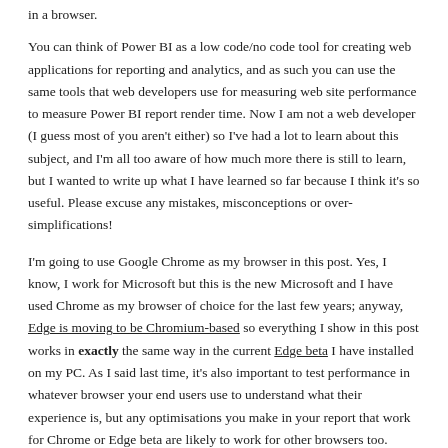in a browser.
You can think of Power BI as a low code/no code tool for creating web applications for reporting and analytics, and as such you can use the same tools that web developers use for measuring web site performance to measure Power BI report render time. Now I am not a web developer (I guess most of you aren't either) so I've had a lot to learn about this subject, and I'm all too aware of how much more there is still to learn, but I wanted to write up what I have learned so far because I think it's so useful. Please excuse any mistakes, misconceptions or over-simplifications!
I'm going to use Google Chrome as my browser in this post. Yes, I know, I work for Microsoft but this is the new Microsoft and I have used Chrome as my browser of choice for the last few years; anyway, Edge is moving to be Chromium-based so everything I show in this post works in exactly the same way in the current Edge beta I have installed on my PC. As I said last time, it's also important to test performance in whatever browser your end users use to understand what their experience is, but any optimisations you make in your report that work for Chrome or Edge beta are likely to work for other browsers too.